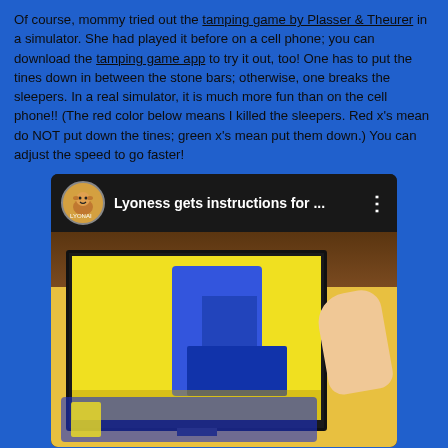Of course, mommy tried out the tamping game by Plasser & Theurer in a simulator. She had played it before on a cell phone; you can download the tamping game app to try it out, too! One has to put the tines down in between the stone bars; otherwise, one breaks the sleepers. In a real simulator, it is much more fun than on the cell phone!! (The red color below means I killed the sleepers. Red x's mean do NOT put down the tines; green x's mean put them down.) You can adjust the speed to go faster!
[Figure (screenshot): A YouTube video thumbnail screenshot showing a video titled 'Lyoness gets instructions for ...' with a channel icon showing a cartoon lion/bear character. Below the title bar is a photo of a simulator screen showing a yellow and blue tamping game simulation with a person's hand pointing at the screen.]